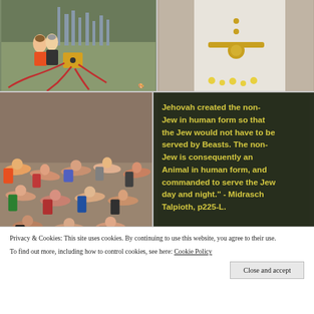[Figure (illustration): Political cartoon showing caricatured figures crouching over a box connected to tentacles, with city skyline in background]
[Figure (photo): Close-up photo of a person wearing white vestments with gold jewelry/chain, partial view]
[Figure (photo): Photo of multiple bodies of children lying on a floor]
[Figure (screenshot): Dark background image with yellow bold text quoting 'Jehovah created the non-Jew in human form so that the Jew would not have to be served by Beasts. The non-Jew is consequently an Animal in human form, and commanded to serve the Jew day and night.' - Midrasch Talpioth, p225-L.]
Privacy & Cookies: This site uses cookies. By continuing to use this website, you agree to their use.
To find out more, including how to control cookies, see here: Cookie Policy
Close and accept